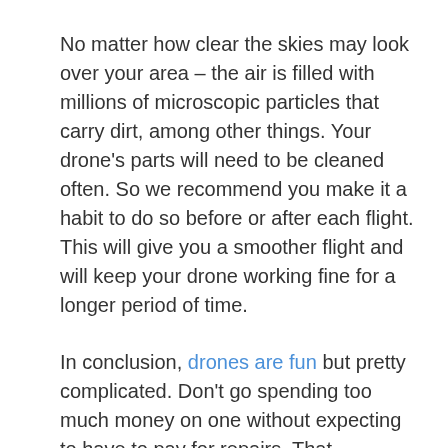No matter how clear the skies may look over your area – the air is filled with millions of microscopic particles that carry dirt, among other things. Your drone's parts will need to be cleaned often. So we recommend you make it a habit to do so before or after each flight. This will give you a smoother flight and will keep your drone working fine for a longer period of time.
In conclusion, drones are fun but pretty complicated. Don't go spending too much money on one without expecting to have to pay for repairs. That, however, shouldn't stop you from having your fun if you have been interested in trying out this relatively new and generally affordable hobby.